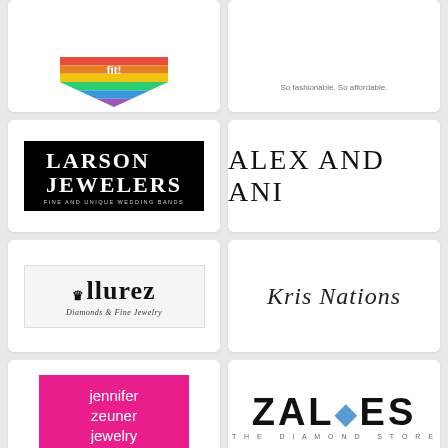[Figure (logo): Partial rainbow chevron logo visible at top]
[Figure (logo): Partial logo with tagline 'So fashionable. So affordable.']
[Figure (logo): Larson Jewelers - Fine and Unique Wedding Bands logo on black background]
[Figure (logo): Alex and Ani logo in serif font]
[Figure (logo): Allurez Diamonds and Fine Jewelry logo]
[Figure (logo): Kris Nations logo in cursive script]
[Figure (logo): Jennifer Zeuner Jewelry logo in pink/magenta box]
[Figure (logo): Zales The Diamond Store logo]